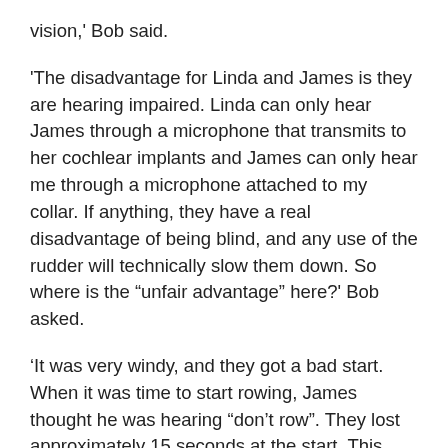vision,' Bob said.
'The disadvantage for Linda and James is they are hearing impaired. Linda can only hear James through a microphone that transmits to her cochlear implants and James can only hear me through a microphone attached to my collar. If anything, they have a real disadvantage of being blind, and any use of the rudder will technically slow them down. So where is the “unfair advantage” here?' Bob asked.
‘It was very windy, and they got a bad start. When it was time to start rowing, James thought he was hearing “don’t row”. They lost approximately 15 seconds at the start. This was a real disadvantage,' Bob said with frustration in his voice.